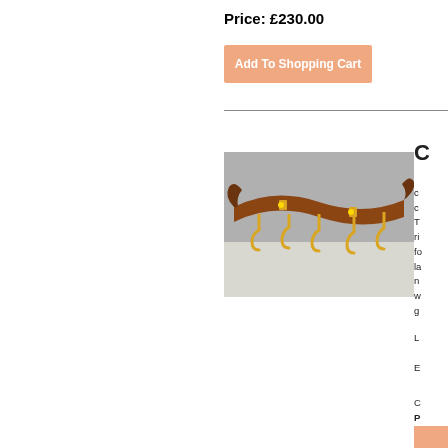Price: £230.00
Add To Shopping Cart
[Figure (photo): A leather wall-mounted coat hook rack with multiple brass S-hooks, displayed against a light background.]
C
c c T ri fo la n w g
L
E
C
P